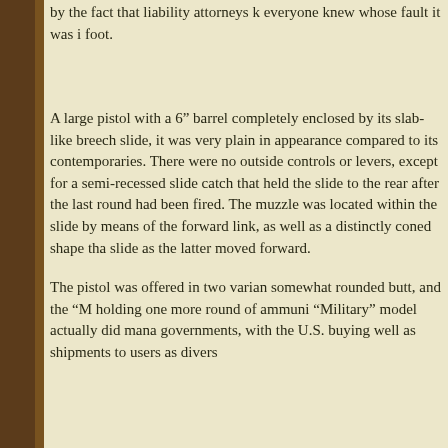by the fact that liability attorneys knew everyone knew whose fault it was if you shot your foot.
A large pistol with a 6" barrel completely enclosed by its slab-like breech slide, it was very plain in appearance compared to its contemporaries. There were no outside controls or levers, except for a semi-recessed slide catch that held the slide to the rear after the last round had been fired. The muzzle was located within the slide by means of the forward link, as well as a distinctly coned shape that guided the barrel into the slide as the latter moved forward.
The pistol was offered in two variants, a "Pocket" model with a somewhat rounded butt, and the "Military" model with a longer grip holding one more round of ammunition. Despite its odd appearance, the "Military" model actually did manage to be adopted by several governments, with the U.S. buying a small quantity for testing as well as shipments to users as diverse as
To give the appearance of a page continuation...